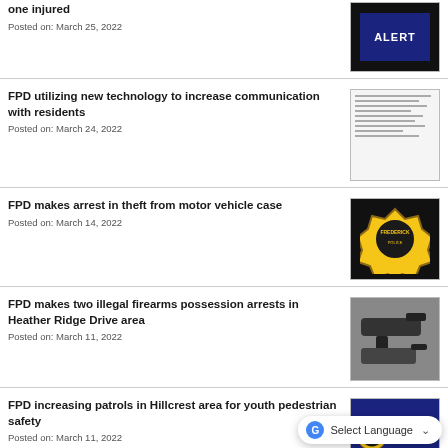one injured
Posted on: March 25, 2022
FPD utilizing new technology to increase communication with residents
Posted on: March 24, 2022
FPD makes arrest in theft from motor vehicle case
Posted on: March 14, 2022
FPD makes two illegal firearms possession arrests in Heather Ridge Drive area
Posted on: March 11, 2022
FPD increasing patrols in Hillcrest area for youth pedestrian safety
Posted on: March 11, 2022